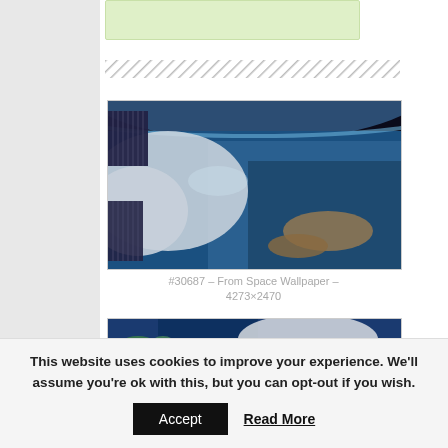[Figure (photo): Light green rounded rectangle box at top of content area]
[Figure (other): Hatched/striped diagonal pattern divider bar]
[Figure (photo): Photograph from the International Space Station showing Earth from orbit — solar panels visible on left, curvature of Earth with ocean and landmasses below, atmosphere visible at top]
#30687 – From Space Wallpaper – 4273×2470
[Figure (photo): Aerial or satellite photograph showing ocean with clouds and islands/landmasses, blue water with white cloud formations]
This website uses cookies to improve your experience. We'll assume you're ok with this, but you can opt-out if you wish.
Accept
Read More